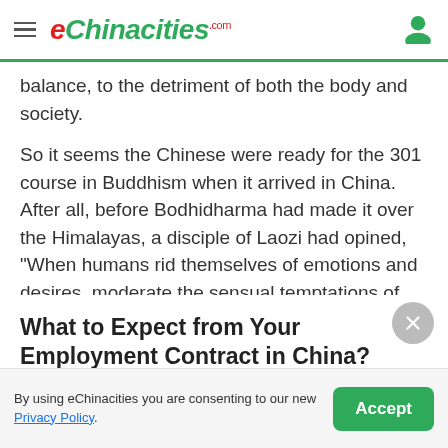eChinacities.com
balance, to the detriment of both the body and society.
So it seems the Chinese were ready for the 301 course in Buddhism when it arrived in China. After all, before Bodhidharma had made it over the Himalayas, a disciple of Laozi had opined, "When humans rid themselves of emotions and desires, moderate the sensual temptations of the material world, and
What to Expect from Your Employment Contract in China?
Sign up a free account and receive the free career advice from other expats.
[Figure (other): Sign up with Google button with Google G logo]
By using eChinacities you are consenting to our new Privacy Policy.